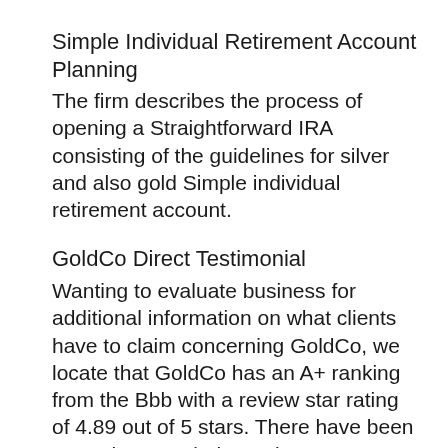Simple Individual Retirement Account Planning
The firm describes the process of opening a Straightforward IRA consisting of the guidelines for silver and also gold Simple individual retirement account.
GoldCo Direct Testimonial
Wanting to evaluate business for additional information on what clients have to claim concerning GoldCo, we locate that GoldCo has an A+ ranking from the Bbb with a review star rating of 4.89 out of 5 stars. There have been more than 100 independent evaluations given to the BBB for the 4.89 celebrities rating.